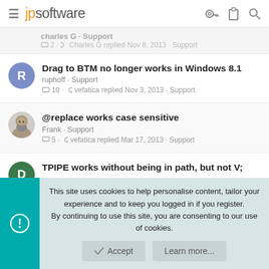jpsoftware
charles G · Support
2 · Charles G replied Nov 8, 2013 · Support
Drag to BTM no longer works in Windows 8.1
ruphoff · Support
10 · vefatica replied Nov 3, 2013 · Support
@replace works case sensitive
Frank · Support
5 · vefatica replied Mar 17, 2013 · Support
TPIPE works without being in path, but not V;
This site uses cookies to help personalise content, tailor your experience and to keep you logged in if you register.
By continuing to use this site, you are consenting to our use of cookies.